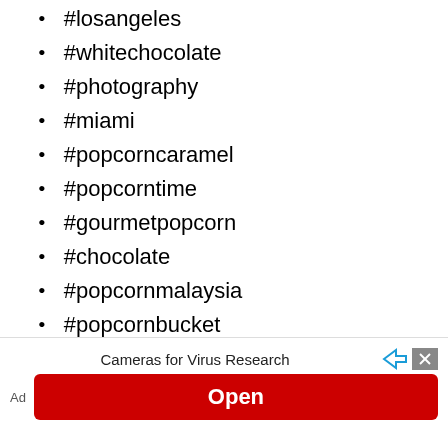#losangeles
#whitechocolate
#photography
#miami
#popcorncaramel
#popcorntime
#gourmetpopcorn
#chocolate
#popcornmalaysia
#popcornbucket
Popcorn Day Quotes
In this section: Best Popcorn Day Quotes &...
Ad  Cameras for Virus Research  Open